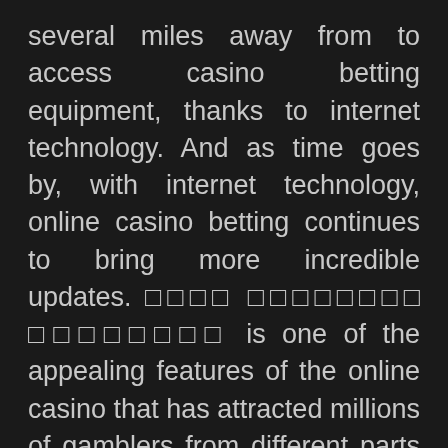several miles away from to access casino betting equipment, thanks to internet technology. And as time goes by, with internet technology, online casino betting continues to bring more incredible updates. □□□□ □□□□□□□□ □□□□□□□□ is one of the appealing features of the online casino that has attracted millions of gamblers from different parts of the world. Here are various reasons millions of players are currently using online casino betting:
Accessible Betting Platform